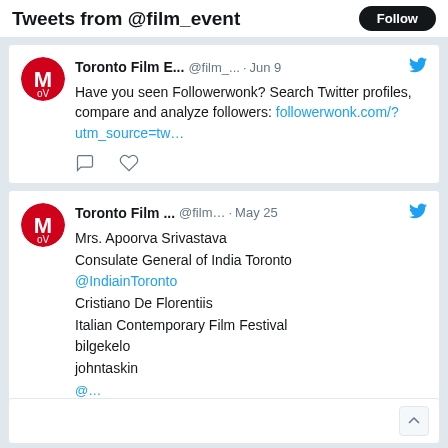Tweets from @film_event
[Figure (screenshot): Tweet from Toronto Film E... @film_... Jun 9: Have you seen Followerwonk? Search Twitter profiles, compare and analyze followers: followerwonk.com/?utm_source=tw...]
[Figure (screenshot): Tweet from Toronto Film ... @film... May 25: Mrs. Apoorva Srivastava Consulate General of India Toronto @IndiainToronto Cristiano De Florentiis Italian Contemporary Film Festival bilgekelo johntaskin]